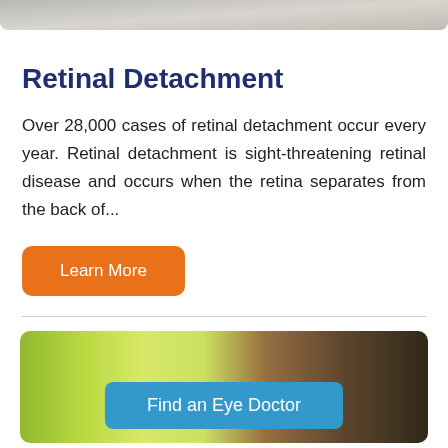[Figure (photo): Top portion of a photo showing a person, cropped — only the lower part of a face/head visible at the top of the page.]
Retinal Detachment
Over 28,000 cases of retinal detachment occur every year. Retinal detachment is sight-threatening retinal disease and occurs when the retina separates from the back of...
Learn More
[Figure (photo): Outdoor nature scene with green grass and foliage on the left, dark tree trunk on the right. A blue button labeled 'Find an Eye Doctor' is overlaid in the center-bottom of the image.]